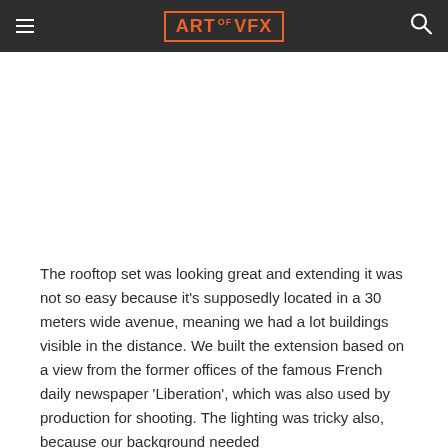ART of VFX
The rooftop set was looking great and extending it was not so easy because it's supposedly located in a 30 meters wide avenue, meaning we had a lot buildings visible in the distance. We built the extension based on a view from the former offices of the famous French daily newspaper 'Liberation', which was also used by production for shooting. The lighting was tricky also, because our background needed